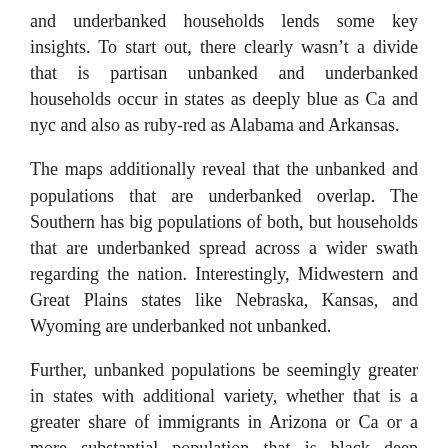and underbanked households lends some key insights. To start out, there clearly wasn’t a divide that is partisan unbanked and underbanked households occur in states as deeply blue as Ca and nyc and also as ruby-red as Alabama and Arkansas.
The maps additionally reveal that the unbanked and populations that are underbanked overlap. The Southern has big populations of both, but households that are underbanked spread across a wider swath regarding the nation. Interestingly, Midwestern and Great Plains states like Nebraska, Kansas, and Wyoming are underbanked not unbanked.
Further, unbanked populations be seemingly greater in states with additional variety, whether that is a greater share of immigrants in Arizona or Ca or a more substantial population that is black deep Southern states. Having said that, underbanked populations include the really homogenous Midwestern states, but